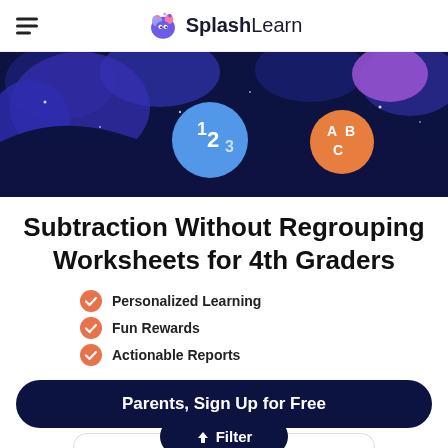SplashLearn
[Figure (illustration): Dark navy illustrated hero banner with colorful blobs, stars, and two circular badges showing '123' and 'ABC' on a night-sky background]
Subtraction Without Regrouping Worksheets for 4th Graders
Personalized Learning
Fun Rewards
Actionable Reports
Parents, Sign Up for Free
Filter